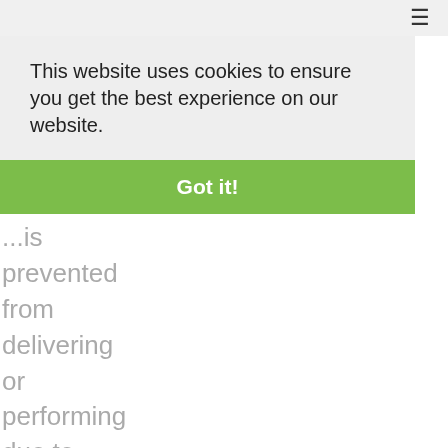≡
This website uses cookies to ensure you get the best experience on our website.
Got it!
...is
prevented
from
delivering
or
performing
due to
circumstances
for
which
it is not